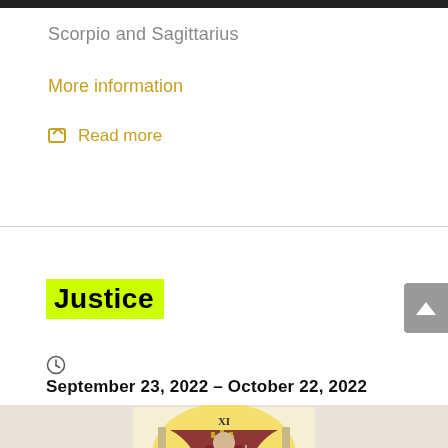Scorpio and Sagittarius
More information
☖ Read more
Justice
September 23, 2022 – October 22, 2022
[Figure (illustration): Tarot card illustration showing the Justice card (XI) with a crowned figure seated on a throne holding scales, wearing red robes, with a yellow/gold circular background]